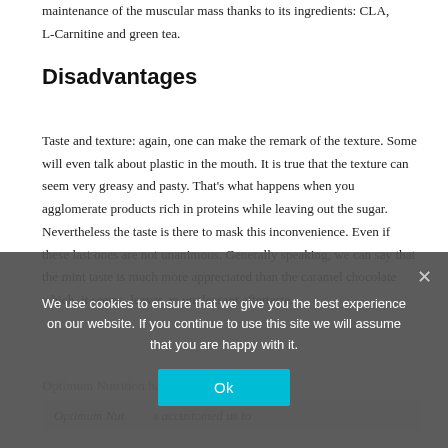maintenance of the muscular mass thanks to its ingredients: CLA, L-Carnitine and green tea.
Disadvantages
Taste and texture: again, one can make the remark of the texture. Some will even talk about plastic in the mouth. It is true that the texture can seem very greasy and pasty. That's what happens when you agglomerate products rich in proteins while leaving out the sugar. Nevertheless the taste is there to mask this inconvenience. Even if these last ones are not unanimous. Generally speaking, we can say that the mint taste is much more appreciated than the caramel chocolate which, it seems, leaves an unpleasant aftertaste.
Optimum Nutrition has accustomed us to good quality products and, once again, the
[Figure (screenshot): Cookie consent overlay banner with text: 'We use cookies to ensure that we give you the best experience on our website. If you continue to use this site we will assume that you are happy with it.' with an 'Ok' button and a close X button.]